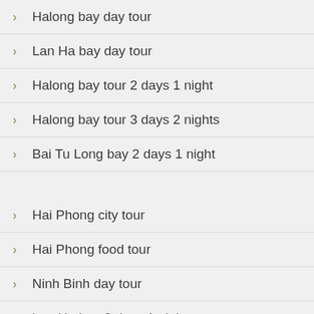Halong bay day tour
Lan Ha bay day tour
Halong bay tour 2 days 1 night
Halong bay tour 3 days 2 nights
Bai Tu Long bay 2 days 1 night
Hai Phong city tour
Hai Phong food tour
Ninh Binh day tour
Lan Ha bay 2 days 1 night